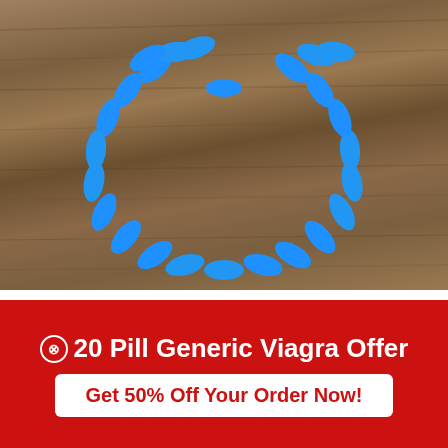[Figure (photo): Blue oval pills/tablets arranged in a heart shape on a wooden surface background]
Providers and researchers recommend a range of combination therapies that include medications and
⊗20 Pill Generic Viagra Offer
Get 50% Off Your Order Now!